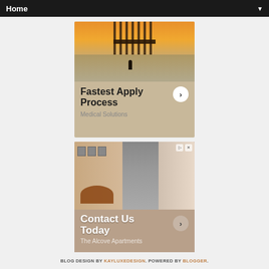Home
[Figure (photo): Advertisement banner showing a beach at sunset with a person on a paddleboard under a pier. Text overlay reads 'Fastest Apply Process' with a forward arrow button and 'Medical Solutions' subtitle.]
[Figure (photo): Advertisement banner showing an apartment interior with dining area, framed pictures on walls, and kitchen visible through a doorway. Text overlay reads 'Contact Us Today' with a forward arrow button and 'The Alcove Apartments' subtitle.]
BLOG DESIGN BY KAYLUXEDESIGN. POWERED BY BLOGGER.